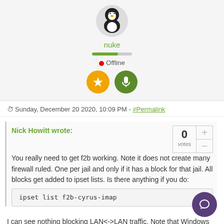[Figure (illustration): User avatar (penguin/Tux) with username 'nuke', a green progress bar, red offline dot with 'Offline' text, and two circular badges (gold shield, green microphone).]
Sunday, December 20 2020, 10:09 PM - #Permalink
Nick Howitt wrote:
You really need to get f2b working. Note it does not create many firewall ruled. One per jail and only if it has a block for that jail. All blocks get added to ipset lists. Is there anything if you do:
I can see nothing blocking LAN<->LAN traffic. Note that Windows will probably block it as it normally only allows pings from its own LAN